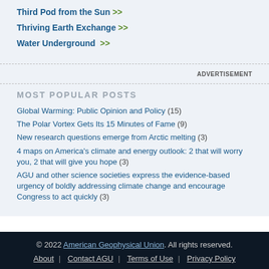Third Pod from the Sun >>
Thriving Earth Exchange >>
Water Underground >>
ADVERTISEMENT
MOST POPULAR POSTS
Global Warming: Public Opinion and Policy (15)
The Polar Vortex Gets Its 15 Minutes of Fame (9)
New research questions emerge from Arctic melting (3)
4 maps on America's climate and energy outlook: 2 that will worry you, 2 that will give you hope (3)
AGU and other science societies express the evidence-based urgency of boldly addressing climate change and encourage Congress to act quickly (3)
© 2022 American Geophysical Union. All rights reserved. | About | Contact AGU | Terms of Use | Privacy Policy